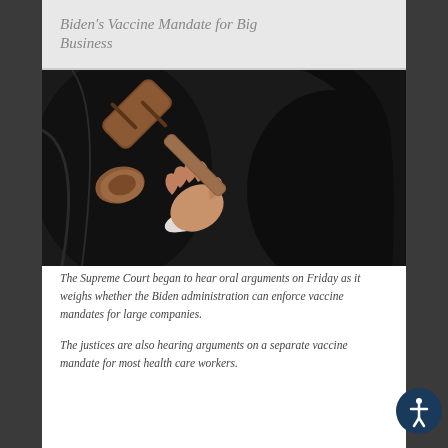Biden's Vaccine Mandate for Big Business
[Figure (photo): A person in a black judge's robe pointing a wooden gavel toward the camera in a close-up shot.]
The Supreme Court began to hear oral arguments on Friday as it weighs whether the Biden administration can enforce vaccine mandates for large companies.
The justices are also hearing arguments on a separate vaccine mandate for most health care workers.